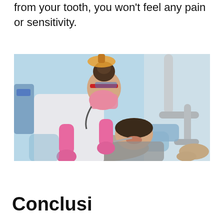from your tooth, you won't feel any pain or sensitivity.
[Figure (photo): A female dentist wearing pink gloves, a face mask, and blue protective glasses leans over a patient lying in a dental chair, performing a dental procedure. Dental equipment is visible on the right side. The background is light blue.]
Conclusi...